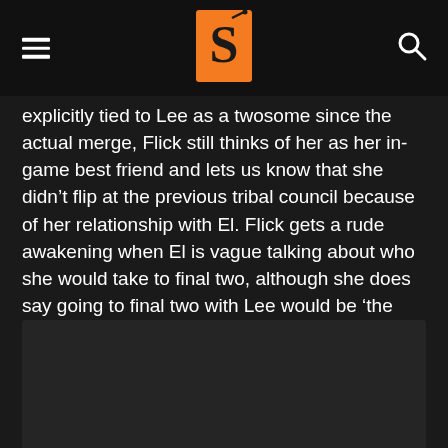[hamburger menu] [logo] [search icon]
explicitly tied to Lee as a twosome since the actual merge, Flick still thinks of her as her in-game best friend and lets us know that she didn't flip at the previous tribal council because of her relationship with El. Flick gets a rude awakening when El is vague talking about who she would take to final two, although she does say going to final two with Lee would be ‘the perfect ending.’ Flick is horrified and knows it might be time to change tracks.
[Figure (photo): Dark/black image placeholder at the bottom of the page]